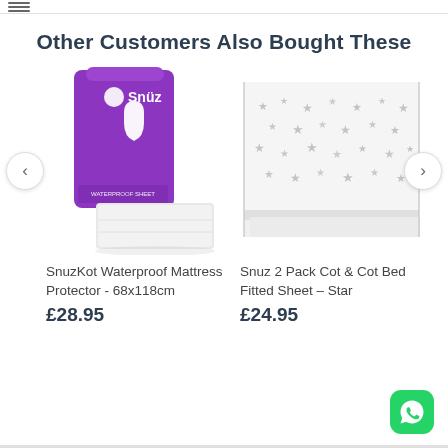Other Customers Also Bought These
[Figure (photo): SnuzKot purple product box with white droplet logo and white mattress protector folded below it]
SnuzKot Waterproof Mattress Protector - 68x118cm
£28.95
[Figure (photo): White fabric with grey star pattern, folded sheets stacked, close-up corner view]
Snuz 2 Pack Cot & Cot Bed Fitted Sheet – Star
£24.95